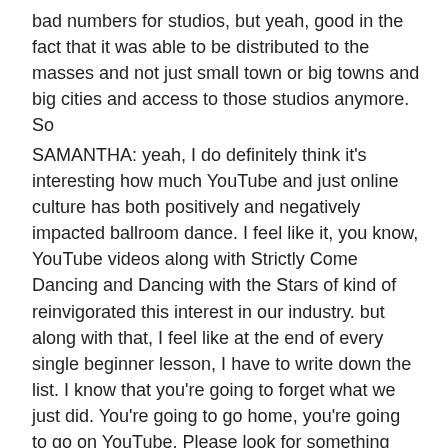bad numbers for studios, but yeah, good in the fact that it was able to be distributed to the masses and not just small town or big towns and big cities and access to those studios anymore. So
SAMANTHA: yeah, I do definitely think it's interesting how much YouTube and just online culture has both positively and negatively impacted ballroom dance. I feel like it, you know, YouTube videos along with Strictly Come Dancing and Dancing with the Stars of kind of reinvigorated this interest in our industry. but along with that, I feel like at the end of every single beginner lesson, I have to write down the list. I know that you're going to forget what we just did. You're going to go home, you're going to go on YouTube. Please look for something with "NDCA DVIDA Dance Vision" in the title of the video. Otherwise, don't use it because it's not exactly what I'm teaching. And that doesn't mean that it's incorrect. It's just not the same